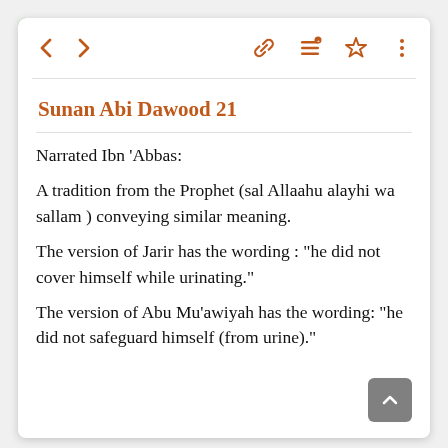Sunan Abi Dawood 21
Narrated Ibn 'Abbas:
A tradition from the Prophet (sal Allaahu alayhi wa sallam ) conveying similar meaning.
The version of Jarir has the wording : "he did not cover himself while urinating."
The version of Abu Mu'awiyah has the wording: "he did not safeguard himself (from urine)."